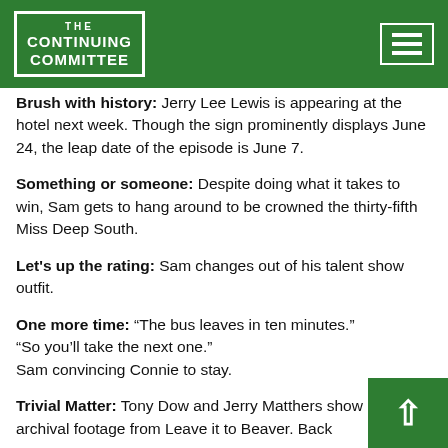THE CONTINUING COMMITTEE
Brush with history: Jerry Lee Lewis is appearing at the hotel next week. Though the sign prominently displays June 24, the leap date of the episode is June 7.
Something or someone: Despite doing what it takes to win, Sam gets to hang around to be crowned the thirty-fifth Miss Deep South.
Let's up the rating: Sam changes out of his talent show outfit.
One more time: “The bus leaves in ten minutes.” “So you’ll take the next one.” Sam convincing Connie to stay.
Trivial Matter: Tony Dow and Jerry Matthers show up archival footage from Leave it to Beaver. Bac...